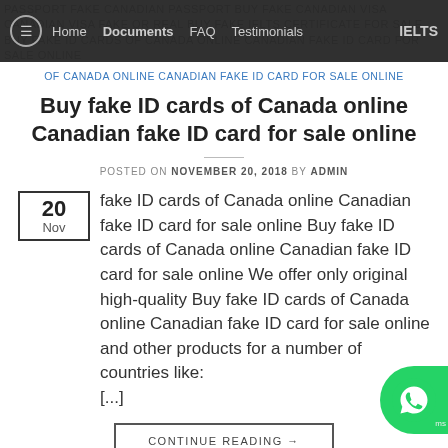PASSPORT FAKE CANADIAN PASSPORT BUY FAKE CANADIAN VISA CANADIAN VISA FAKE OR REAL BUY FAKE IELTS CERTIFICATE FOR SALE BUY FAKE ID CARDS OF CANADA ONLINE CANADIAN FAKE ID CARD FOR SALE ONLINE
Buy fake ID cards of Canada online Canadian fake ID card for sale online
POSTED ON NOVEMBER 20, 2018 BY ADMIN
fake ID cards of Canada online Canadian fake ID card for sale online Buy fake ID cards of Canada online Canadian fake ID card for sale online We offer only original high-quality Buy fake ID cards of Canada online Canadian fake ID card for sale online and other products for a number of countries like: [...]
CONTINUE READING →